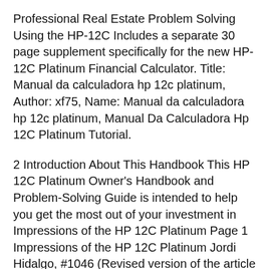Professional Real Estate Problem Solving Using the HP-12C Includes a separate 30 page supplement specifically for the new HP-12C Platinum Financial Calculator. Title: Manual da calculadora hp 12c platinum, Author: xf75, Name: Manual da calculadora hp 12c platinum, Manual Da Calculadora Hp 12C Platinum Tutorial.
2 Introduction About This Handbook This HP 12C Platinum Owner's Handbook and Problem-Solving Guide is intended to help you get the most out of your investment in Impressions of the HP 12C Platinum Page 1 Impressions of the HP 12C Platinum Jordi Hidalgo, #1046 (Revised version of the article in